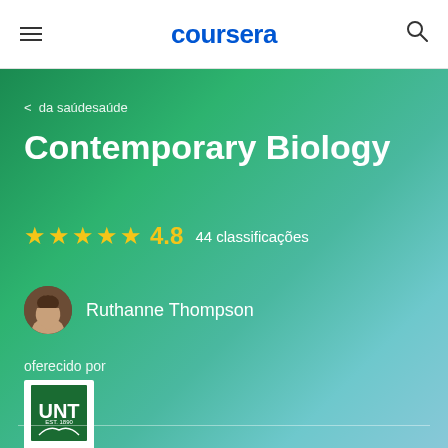coursera
< da saúdesaúde
Contemporary Biology
★★★★★ 4.8  44 classificações
Ruthanne Thompson
oferecido por
[Figure (logo): UNT EST. 1890 university logo with green background and white text]